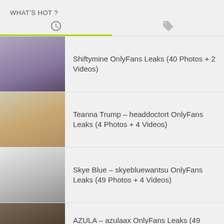WHAT'S HOT ?
Shiftymine OnlyFans Leaks (40 Photos + 2 Videos)
Teanna Trump – headdoctort OnlyFans Leaks (4 Photos + 4 Videos)
Skye Blue – skyebluewantsu OnlyFans Leaks (49 Photos + 4 Videos)
AZULA – azulaax OnlyFans Leaks (49 Photos